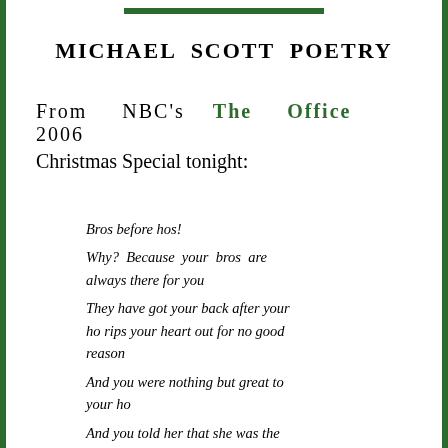MICHAEL SCOTT POETRY
From NBC's The Office 2006
Christmas Special tonight:
Bros before hos!
Why? Because your bros are always there for you
They have got your back after your ho rips your heart out for no good reason
And you were nothing but great to your ho
And you told her that she was the only ho for you